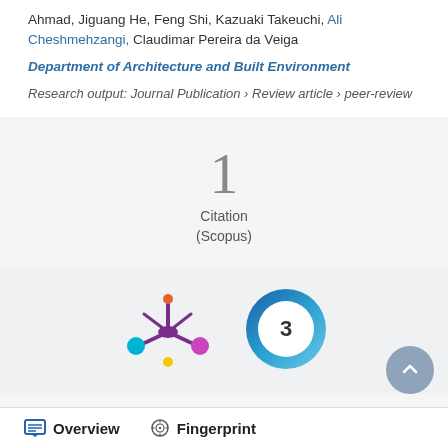Ahmad, Jiguang He, Feng Shi, Kazuaki Takeuchi, Ali Cheshmehzangi, Claudimar Pereira da Veiga
Department of Architecture and Built Environment
Research output: Journal Publication › Review article › peer-review
1
Citation
(Scopus)
[Figure (logo): Altmetric donut badge logo with colorful dots]
[Figure (donut-chart): Scopus badge showing number 3 in a blue swirl donut]
Overview
Fingerprint